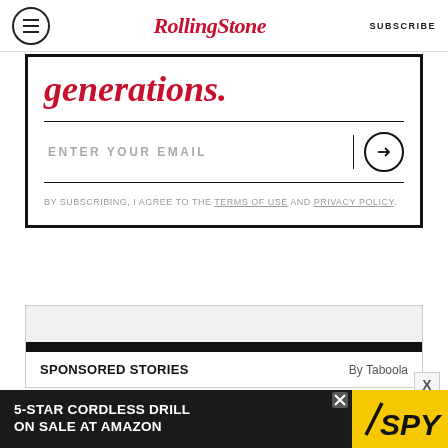RollingStone | SUBSCRIBE
generations.
ENTER YOUR EMAIL
BY SUBSCRIBING, I AGREE TO THE TERMS OF USE AND PRIVACY POLICY.
SPONSORED STORIES By Taboola
[Figure (other): Advertisement banner: 5-STAR CORDLESS DRILL ON SALE AT AMAZON with SPY logo on yellow background]